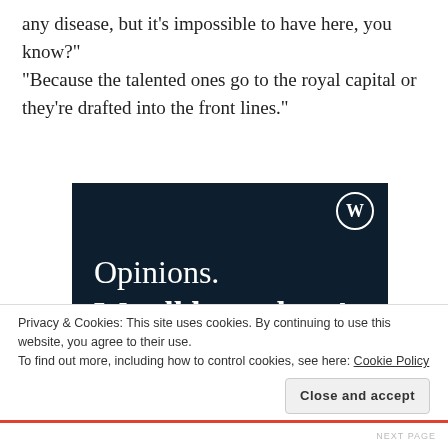any disease, but it’s impossible to have here, you know?"
“Because the talented ones go to the royal capital or they’re drafted into the front lines.”
[Figure (screenshot): Dark navy blue advertisement banner reading 'Opinions. We all have them!' with a pink 'Start a survey' button at the bottom left, a WordPress logo at the top right, and a CrowdSignal logo at the bottom right.]
Privacy & Cookies: This site uses cookies. By continuing to use this website, you agree to their use.
To find out more, including how to control cookies, see here: Cookie Policy
Close and accept